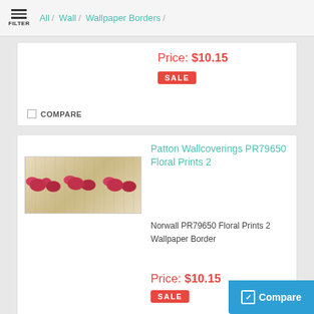FILTER / All / Wall / Wallpaper Borders /
Price: $10.15
SALE
COMPARE
Patton Wallcoverings PR79650 Floral Prints 2
[Figure (photo): Floral wallpaper border strip showing roses on a beige/tan striped background]
Norwall PR79650 Floral Prints 2 Wallpaper Border
Price: $10.15
SALE
COMPARE
Compare
Patton Wallcoverings PR79655 Floral Prints 2
Norwall PR79655 Floral Prints 2